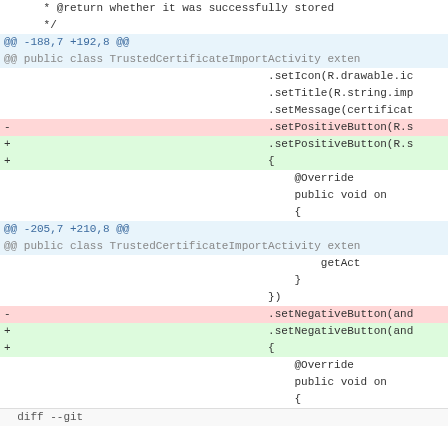* @return whether it was successfully stored
*/
@@ -188,7 +192,8 @@
@@ public class TrustedCertificateImportActivity exten
.setIcon(R.drawable.ic
.setTitle(R.string.imp
.setMessage(certificat
- .setPositiveButton(R.s
+ .setPositiveButton(R.s
+ {
@Override
public void on
{
@@ -205,7 +210,8 @@
@@ public class TrustedCertificateImportActivity exten
getAct
}
})
- .setNegativeButton(and
+ .setNegativeButton(and
+ {
@Override
public void on
{
diff --git